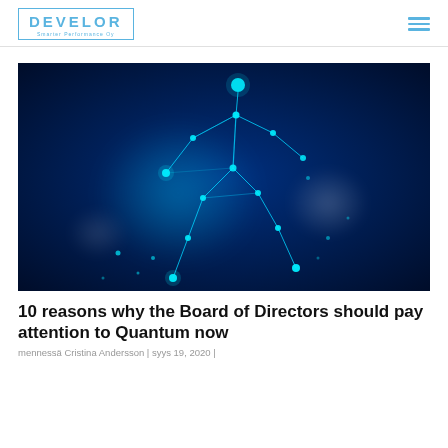DEVELOR
[Figure (photo): Digital glowing blue human figure made of connected dots and lines, running pose, on dark navy background with light glare effects]
10 reasons why the Board of Directors should pay attention to Quantum now
mennessä Cristina Andersson | syys 19, 2020 |